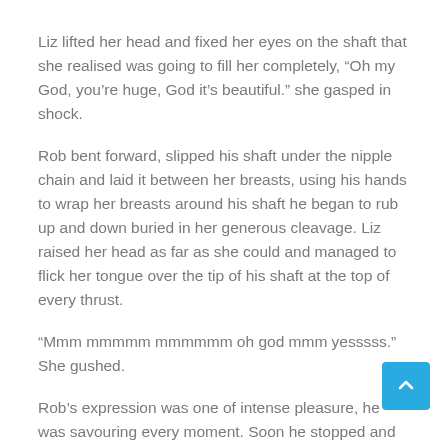Liz lifted her head and fixed her eyes on the shaft that she realised was going to fill her completely, “Oh my God, you’re huge, God it’s beautiful.” she gasped in shock.
Rob bent forward, slipped his shaft under the nipple chain and laid it between her breasts, using his hands to wrap her breasts around his shaft he began to rub up and down buried in her generous cleavage. Liz raised her head as far as she could and managed to flick her tongue over the tip of his shaft at the top of every thrust.
“Mmm mmmmm mmmmmm oh god mmm yesssss.” She gushed.
Rob’s expression was one of intense pleasure, he was savouring every moment. Soon he stopped and pulled his shaft free and leaned forward balancing his body by placing his hands on the headboard and carefully pushed his tip against her lips. Obediently she opened her mouth wide. He hesitated a moment to let the camera zoom in again and then slid into her. She had to open her mouth as wide as she could to accommodate his swollen girth but